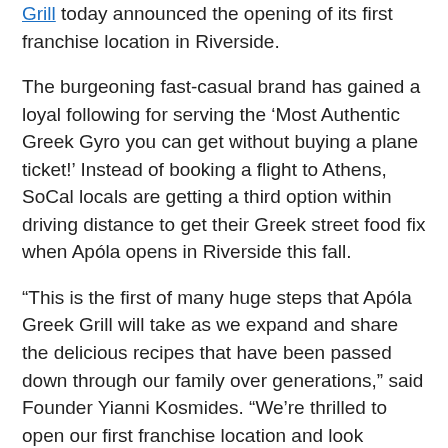Grill today announced the opening of its first franchise location in Riverside.
The burgeoning fast-casual brand has gained a loyal following for serving the ‘Most Authentic Greek Gyro you can get without buying a plane ticket!’ Instead of booking a flight to Athens, SoCal locals are getting a third option within driving distance to get their Greek street food fix when Apóla opens in Riverside this fall.
“This is the first of many huge steps that Apóla Greek Grill will take as we expand and share the delicious recipes that have been passed down through our family over generations,” said Founder Yianni Kosmides. “We’re thrilled to open our first franchise location and look forward to adding more as we continue our launch toward aggressive growth in the future.”
Taking the reins of the first Apóla franchise will be Majid Zahedi, a SoCal restaurateur for more than